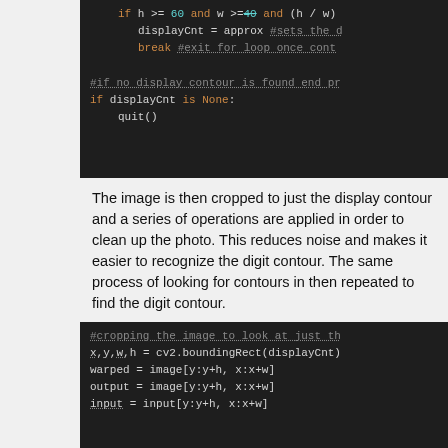[Figure (screenshot): Dark-theme code editor screenshot showing Python code: if h >= 60 and w >=40 and (h / w) condition, displayCnt = approx #sets the ..., break #exit for loop once cont..., #if no display contour is found end pr..., if displayCnt is None:, quit()]
The image is then cropped to just the display contour and a series of operations are applied in order to clean up the photo. This reduces noise and makes it easier to recognize the digit contour. The same process of looking for contours in then repeated to find the digit contour.
[Figure (screenshot): Dark-theme code editor screenshot showing Python code: #cropping the image to look at just th..., x,y,w,h = cv2.boundingRect(displayCnt), warped = image[y:y+h, x:x+w], output = image[y:y+h, x:x+w], input = input[y:y+h, x:x+w]]